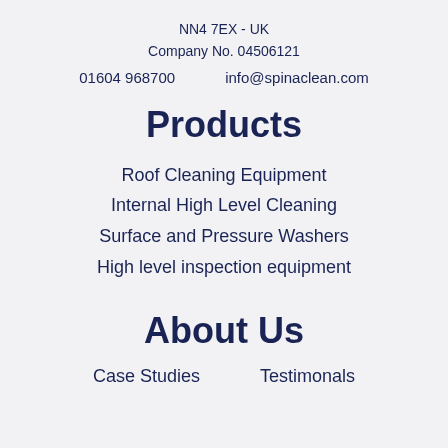NN4 7EX - UK
Company No. 04506121
01604 968700     info@spinaclean.com
Products
Roof Cleaning Equipment
Internal High Level Cleaning
Surface and Pressure Washers
High level inspection equipment
About Us
Case Studies     Testimonals